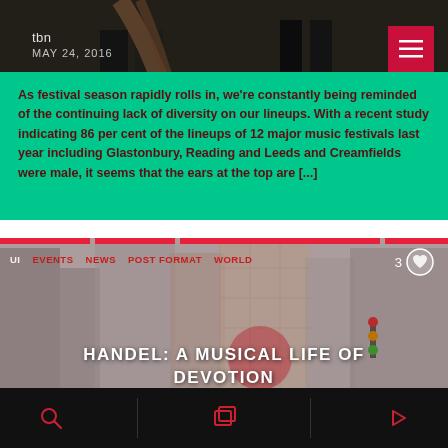[Figure (photo): Dark photo showing legs and feet of two people on a wooden floor, one with long hair, with overlay text metadata]
tbn
MAY 24, 2016
As festival season rapidly rolls in, we're constantly being reminded of the continuing lack of diversity on our lineups. With a recent study indicating 86 per cent of the lineups of 12 major music festivals last year including Glastonbury, Reading and Leeds and Creamfields were male, it seems that the ears at the top are [...]
[Figure (photo): City buildings / skyline photo with tags: UI, EVENTS, NEWS, POST FORMAT, WORLD and heart icon with count 3]
HANDEL: A MUSICAL LIFE OF DEVOTION